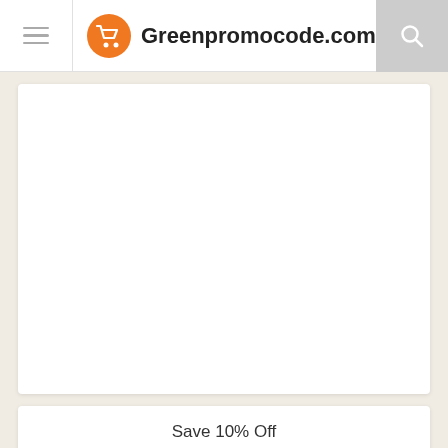Greenpromocode.com
[Figure (other): Large white content card area (blank/image placeholder)]
Save 10% Off
10% Off  Special 10% off personalised guest boo